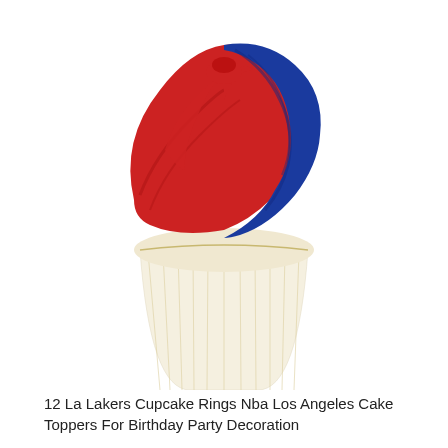[Figure (photo): A cupcake with red and blue swirled frosting on top, in a white paper liner, photographed on a white background. The top portion of the cupcake is visible, showing the colorful frosting.]
12 La Lakers Cupcake Rings Nba Los Angeles Cake Toppers For Birthday Party Decoration
[Figure (photo): A basketball-shaped cake ball sitting on top of a small white cylindrical cake base, on a gray background. The ball is orange with black seam lines. A small circular logo reading 'Fancy Cakes by Dana' appears in the upper right.]